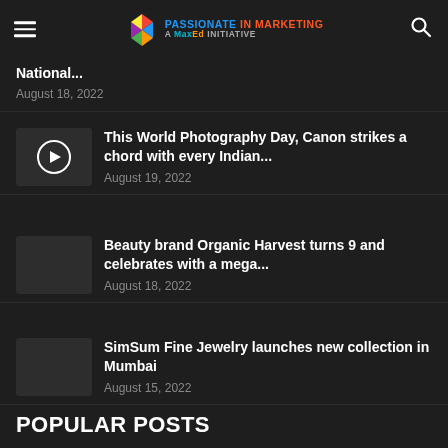PASSIONATE IN MARKETING A MaxEd INITIATIVE
National...
August 18, 2022
This World Photography Day, Canon strikes a chord with every Indian...
August 19, 2022
Beauty brand Organic Harvest turns 9 and celebrates with a mega...
August 18, 2022
SimSum Fine Jewelry launches new collection in Mumbai
August 15, 2022
POPULAR POSTS